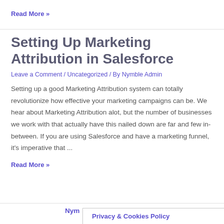Read More »
Setting Up Marketing Attribution in Salesforce
Leave a Comment / Uncategorized / By Nymble Admin
Setting up a good Marketing Attribution system can totally revolutionize how effective your marketing campaigns can be. We hear about Marketing Attribution alot, but the number of businesses we work with that actually have this nailed down are far and few in-between. If you are using Salesforce and have a marketing funnel, it's imperative that ...
Read More »
Nym
Privacy & Cookies Policy